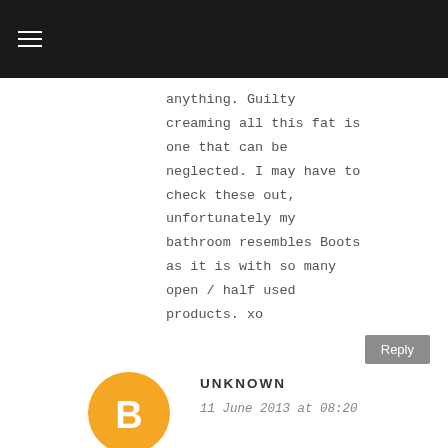anything. Guilty creaming all this fat is one that can be neglected. I may have to check these out, unfortunately my bathroom resembles Boots as it is with so many open / half used products. xo
Reply
UNKNOWN
11 June 2013 at 08:20